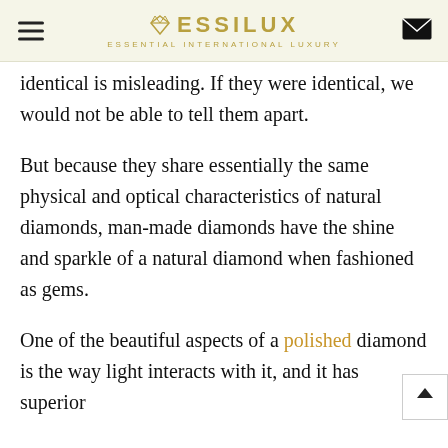ESSILUX — ESSENTIAL INTERNATIONAL LUXURY
identical is misleading. If they were identical, we would not be able to tell them apart.
But because they share essentially the same physical and optical characteristics of natural diamonds, man-made diamonds have the shine and sparkle of a natural diamond when fashioned as gems.
One of the beautiful aspects of a polished diamond is the way light interacts with it, and it has superior